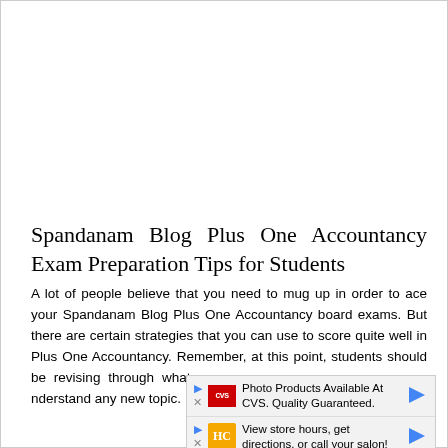Spandanam Blog Plus One Accountancy Exam Preparation Tips for Students
A lot of people believe that you need to mug up in order to ace your Spandanam Blog Plus One Accountancy board exams. But there are certain strategies that you can use to score quite well in Plus One Accountancy. Remember, at this point, students should be revising through whatever and understand any new topic.
[Figure (screenshot): Two advertisement banners overlaying the text. First ad: CVS Photo Products Available At CVS. Quality Guaranteed. with CVS logo and navigation arrow. Second ad: View store hours, get directions, or call your salon! with HC logo and navigation arrow.]